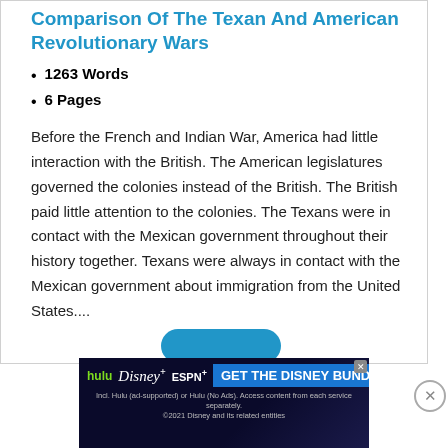Comparison Of The Texan And American Revolutionary Wars
1263 Words
6 Pages
Before the French and Indian War, America had little interaction with the British. The American legislatures governed the colonies instead of the British. The British paid little attention to the colonies. The Texans were in contact with the Mexican government throughout their history together. Texans were always in contact with the Mexican government about immigration from the United States....
[Figure (screenshot): Disney Bundle advertisement banner showing Hulu, Disney+, ESPN+ logos with 'GET THE DISNEY BUNDLE' call to action]